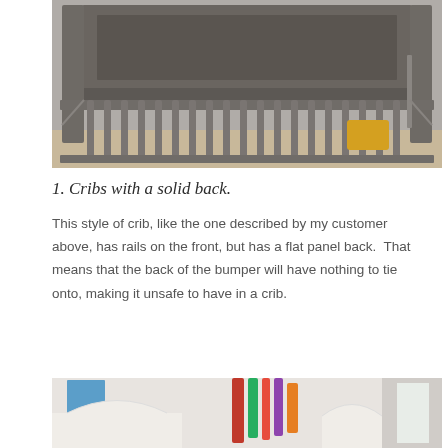[Figure (photo): Close-up photo of a dark grey/charcoal wooden crib with vertical spindle rails on the front and sides, and a solid flat panel on the back. A stuffed yellow toy is visible through the rails.]
1. Cribs with a solid back.
This style of crib, like the one described by my customer above, has rails on the front, but has a flat panel back.  That means that the back of the bumper will have nothing to tie onto, making it unsafe to have in a crib.
[Figure (photo): Partial photo of a nursery room showing white cribs and colorful hanging fabric/curtain decorations in green, pink, and blue tones.]